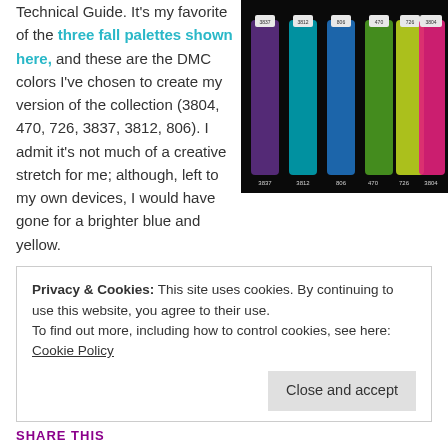Technical Guide. It's my favorite of the three fall palettes shown here, and these are the DMC colors I've chosen to create my version of the collection (3804, 470, 726, 3837, 3812, 806). I admit it's not much of a creative stretch for me; although, left to my own devices, I would have gone for a brighter blue and yellow.
[Figure (photo): Photo of DMC embroidery thread skeins in colors including purple (3837), teal (3812), blue (806), green (470), yellow-green (726), and pink (3804) against a dark background]
My goal is to make a bookmark with these colors. Can I persuade you to do the same? Find a color palette
Privacy & Cookies: This site uses cookies. By continuing to use this website, you agree to their use.
To find out more, including how to control cookies, see here: Cookie Policy
Close and accept
SHARE THIS